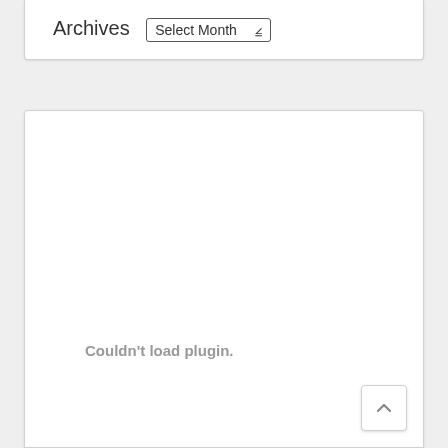Archives  Select Month
[Figure (screenshot): Large empty white card area with a 'Couldn't load plugin.' message in gray bold text near the bottom left, and a back-to-top arrow button in the bottom right corner.]
Couldn't load plugin.